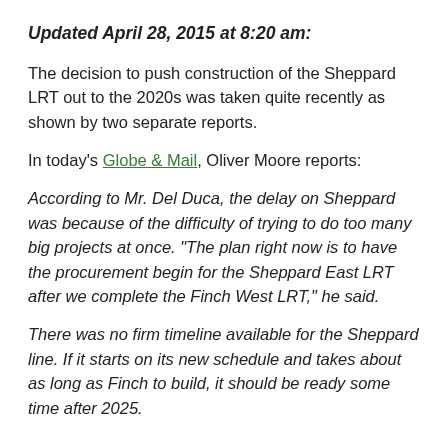Updated April 28, 2015 at 8:20 am:
The decision to push construction of the Sheppard LRT out to the 2020s was taken quite recently as shown by two separate reports.
In today's Globe & Mail, Oliver Moore reports:
According to Mr. Del Duca, the delay on Sheppard was because of the difficulty of trying to do too many big projects at once. “The plan right now is to have the procurement begin for the Sheppard East LRT after we complete the Finch West LRT,” he said.
There was no firm timeline available for the Sheppard line. If it starts on its new schedule and takes about as long as Finch to build, it should be ready some time after 2025.